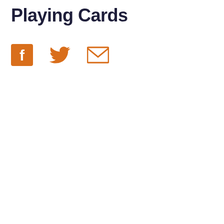Playing Cards
[Figure (illustration): Three social sharing icons: Facebook (orange square with white 'f'), Twitter (orange bird silhouette), and Email (orange envelope outline)]